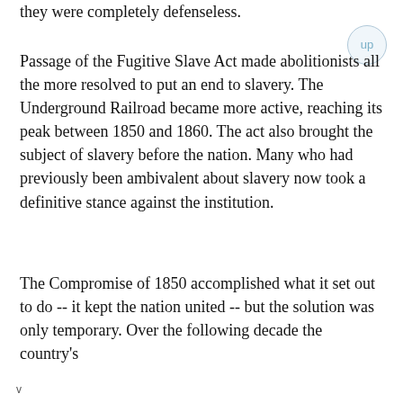they were completely defenseless.
Passage of the Fugitive Slave Act made abolitionists all the more resolved to put an end to slavery. The Underground Railroad became more active, reaching its peak between 1850 and 1860. The act also brought the subject of slavery before the nation. Many who had previously been ambivalent about slavery now took a definitive stance against the institution.
The Compromise of 1850 accomplished what it set out to do -- it kept the nation united -- but the solution was only temporary. Over the following decade the country's
v